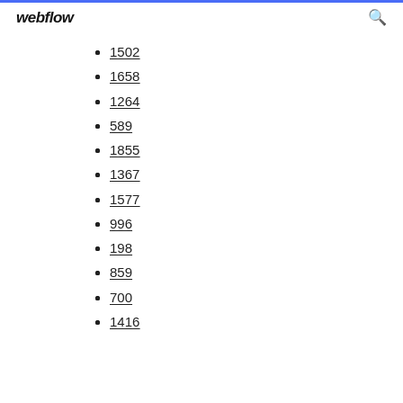webflow
1502
1658
1264
589
1855
1367
1577
996
198
859
700
1416